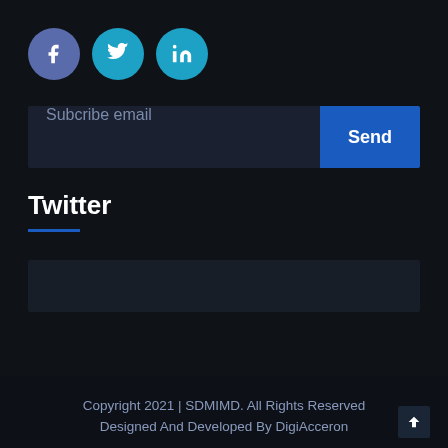[Figure (other): Three social media icon circles: Facebook (purple-blue), Twitter (teal), LinkedIn (teal)]
Subcribe email
Send
Twitter
[Figure (other): Dark grey rectangular placeholder box for Twitter feed content]
Copyright 2021 | SDMIMD. All Rights Reserved
Designed And Developed By DigiAcceron